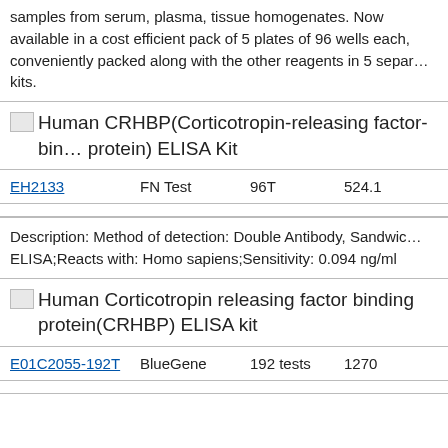samples from serum, plasma, tissue homogenates. Now available in a cost efficient pack of 5 plates of 96 wells each, conveniently packed along with the other reagents in 5 separate kits.
[Figure (photo): Small thumbnail image icon]
Human CRHBP(Corticotropin-releasing factor-binding protein) ELISA Kit
| SKU | Brand | Size | Price |
| --- | --- | --- | --- |
| EH2133 | FN Test | 96T | 524.1 |
Description: Method of detection: Double Antibody, Sandwich ELISA;Reacts with: Homo sapiens;Sensitivity: 0.094 ng/ml
[Figure (photo): Small thumbnail image icon]
Human Corticotropin releasing factor binding protein(CRHBP) ELISA kit
| SKU | Brand | Size | Price |
| --- | --- | --- | --- |
| E01C2055-192T | BlueGene | 192 tests | 1270 |